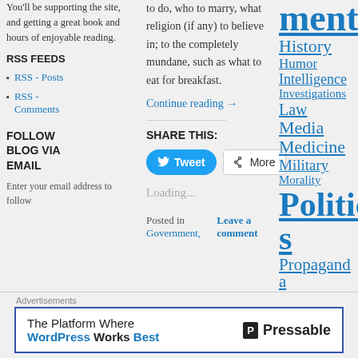You'll be supporting the site, and getting a great book and hours of enjoyable reading.
RSS FEEDS
RSS - Posts
RSS - Comments
FOLLOW BLOG VIA EMAIL
Enter your email address to follow
to do, who to marry, what religion (if any) to believe in; to the completely mundane, such as what to eat for breakfast.
Continue reading →
SHARE THIS:
Loading...
Posted in Government,
Leave a comment
ments History Humor Intelligence Investigations Law Media Medicine Military Morality Politics Propaganda Science Tyranny Uncategorized War
Advertisements
The Platform Where WordPress Works Best